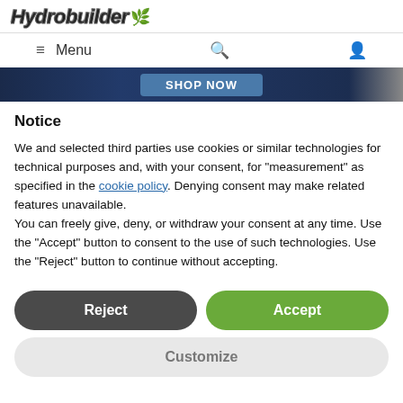Hydrobuilder
≡ Menu
[Figure (screenshot): Partial banner image with 'Shop Now' button on dark blue background]
Notice
We and selected third parties use cookies or similar technologies for technical purposes and, with your consent, for "measurement" as specified in the cookie policy. Denying consent may make related features unavailable.
You can freely give, deny, or withdraw your consent at any time. Use the "Accept" button to consent to the use of such technologies. Use the "Reject" button to continue without accepting.
Reject
Accept
Customize